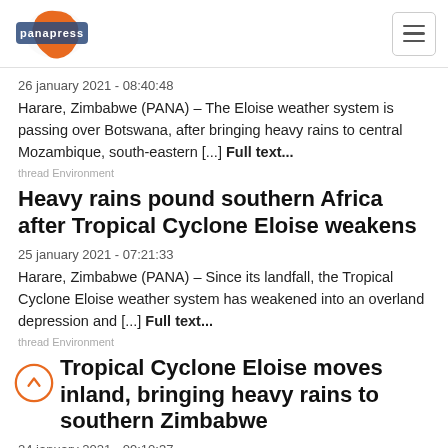panapress
26 january 2021 - 08:40:48
Harare, Zimbabwe (PANA) – The Eloise weather system is passing over Botswana, after bringing heavy rains to central Mozambique, south-eastern [...] Full text...
thread Environment
Heavy rains pound southern Africa after Tropical Cyclone Eloise weakens
25 january 2021 - 07:21:33
Harare, Zimbabwe (PANA) – Since its landfall, the Tropical Cyclone Eloise weather system has weakened into an overland depression and [...] Full text...
thread Environment
Tropical Cyclone Eloise moves inland, bringing heavy rains to southern Zimbabwe
24 january 2021 - 09:10:37